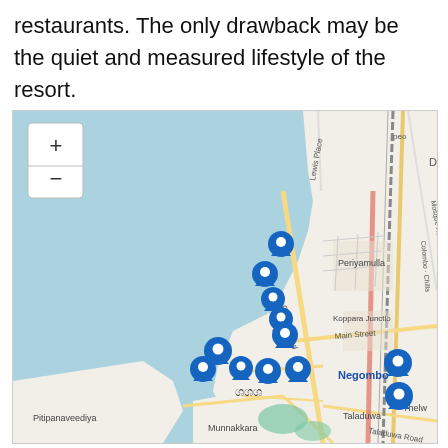restaurants. The only drawback may be the quiet and measured lifestyle of the resort.
[Figure (map): Interactive map centered on Negombo, Sri Lanka, showing multiple blue location pin markers clustered along the coastline. Map includes labels for Periyamulla, Koppara Junction, Main Street, Negombo, Taladuwa, Thelwa, Munnakkara, Pitipanaveediya, Lewis Place, Chilaw Road, Colombo-Chilaw road, Mosque Road, Taladuwa Road. Blue water area to the left (ocean/lagoon), land areas in beige/white with road network. Zoom controls (+/-) visible in top-left corner.]